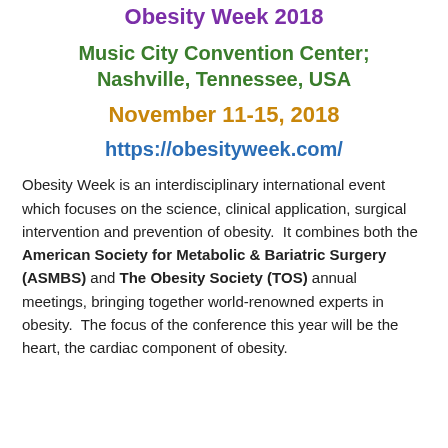Obesity Week 2018
Music City Convention Center; Nashville, Tennessee, USA
November 11-15, 2018
https://obesityweek.com/
Obesity Week is an interdisciplinary international event which focuses on the science, clinical application, surgical intervention and prevention of obesity.  It combines both the American Society for Metabolic & Bariatric Surgery (ASMBS) and The Obesity Society (TOS) annual meetings, bringing together world-renowned experts in obesity.  The focus of the conference this year will be the heart, the cardiac component of obesity.